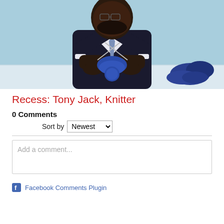[Figure (photo): A Black man in a dark suit with a blue tie, sitting at a white table, knitting blue yarn. Blue background. Skeins of dark blue yarn on the table to the right.]
Recess: Tony Jack, Knitter
0 Comments
Sort by Newest
Add a comment...
Facebook Comments Plugin